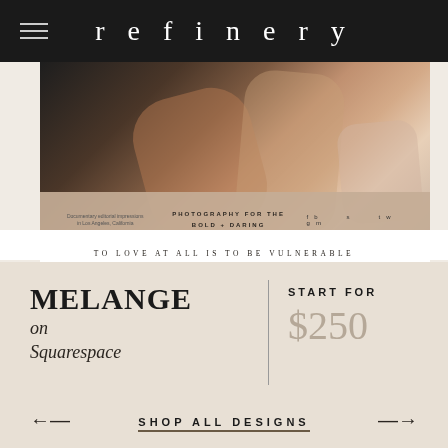refinery
[Figure (screenshot): Website screenshot showing 'refinery' photography site with a couple photo, beige overlay strip with text 'PHOTOGRAPHY FOR THE BOLD + DARING', and the quote 'TO LOVE AT ALL IS TO BE VULNERABLE']
MELANGE
on Squarespace
START FOR
$250
SHOP ALL DESIGNS